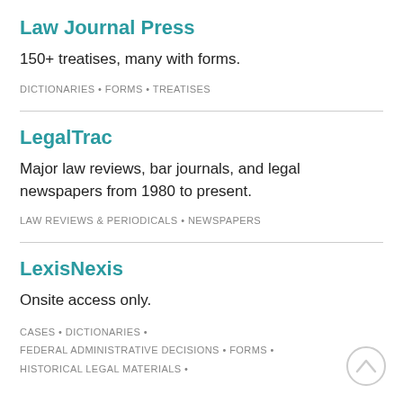Law Journal Press
150+ treatises, many with forms.
DICTIONARIES • FORMS • TREATISES
LegalTrac
Major law reviews, bar journals, and legal newspapers from 1980 to present.
LAW REVIEWS & PERIODICALS • NEWSPAPERS
LexisNexis
Onsite access only.
CASES • DICTIONARIES •
FEDERAL ADMINISTRATIVE DECISIONS • FORMS •
HISTORICAL LEGAL MATERIALS •